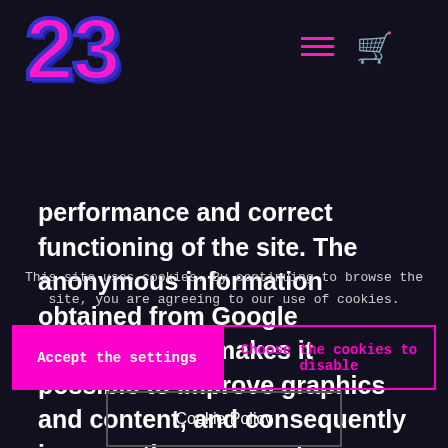[Figure (logo): Logo with bold stylized number 23 in pink with blue/purple outline]
performance and correct functioning of the site. The anonymous information obtained from Google Analytics also makes it possible to improve graphics and content, and consequently improve the company’s communication.
This site uses cookies. By continuing to browse the site, you are agreeing to our use of cookies.
Accept the settings
Choose the cookies to disable
Cookie Policy